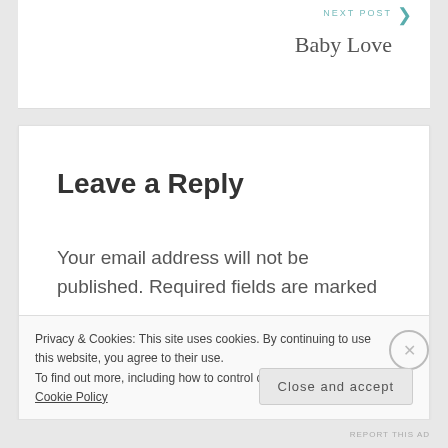NEXT POST
Baby Love
Leave a Reply
Your email address will not be published. Required fields are marked *
Privacy & Cookies: This site uses cookies. By continuing to use this website, you agree to their use.
To find out more, including how to control cookies, see here: Cookie Policy
Close and accept